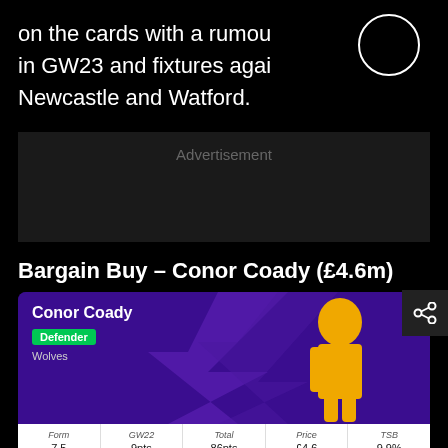on the cards with a rumou in GW23 and fixtures agai Newcastle and Watford.
[Figure (other): White circle outline in upper right area]
Advertisement
Bargain Buy – Conor Coady (£4.6m)
[Figure (other): FPL player card for Conor Coady, Defender, Wolves. Stats: Form 7.5, GW22 9pts, Total 86pts, Price £4.6, TSB 9.9%]